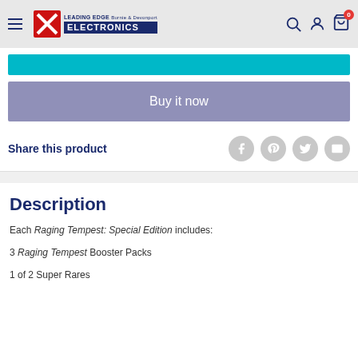Leading Edge Electronics — Burnie & Devonport
[Figure (screenshot): Cyan add-to-cart button bar]
Buy it now
Share this product
Description
Each Raging Tempest: Special Edition includes:
3 Raging Tempest Booster Packs
1 of 2 Super Rares